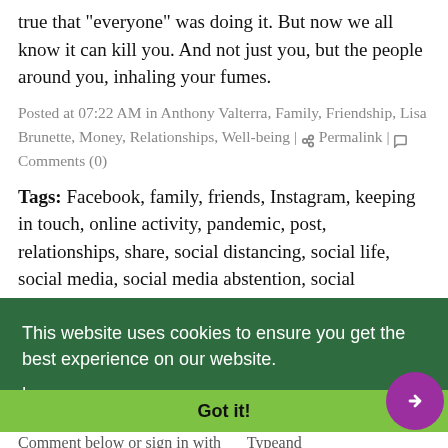true that "everyone" was doing it. But now we all know it can kill you. And not just you, but the people around you, inhaling your fumes.
Posted at 07:22 AM in Anthony Valterra, Family, Friendship, Lisa Brunette, Money, Relationships, Well-being | Permalink | Comments (0)
Tags: Facebook, family, friends, Instagram, keeping in touch, online activity, pandemic, post, relationships, share, social distancing, social life, social media, social media abstention, social
This website uses cookies to ensure you get the best experience on our website. Learn more
Got it!
Comment below or sign in with